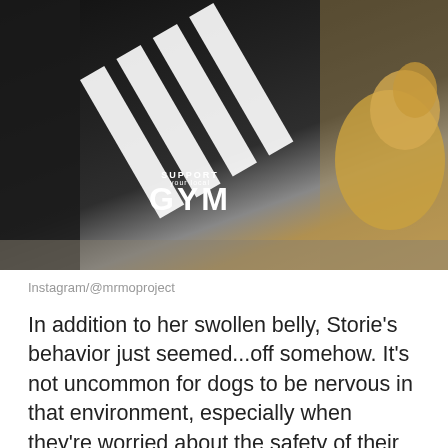[Figure (photo): Photo of a person or dog wearing a black 'Support GYM' hoodie/jersey, lying on what appears to be a couch or surface, with a golden/tan colored dog visible on the right side.]
Instagram/@mrmoproject
In addition to her swollen belly, Storie's behavior just seemed...off somehow. It's not uncommon for dogs to be nervous in that environment, especially when they're worried about the safety of their pups. Mariesa had a feeling there was something else on Storie's mind. Was she trying to tell them something?
They arrived at the vet's office